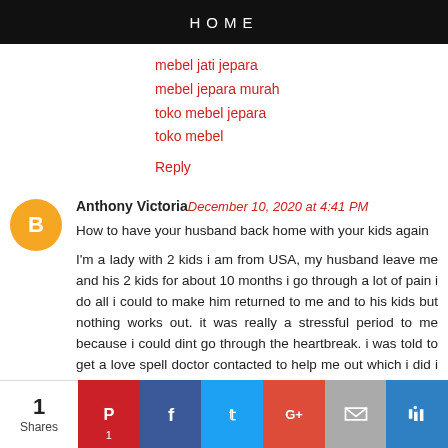HOME
mebel jati jepara
mebel jepara murah
toko mebel jepara
toko mebel
Reply
Anthony Victoria December 10, 2020 at 4:41 PM
How to have your husband back home with your kids again

I'm a lady with 2 kids i am from USA, my husband leave me and his 2 kids for about 10 months i go through a lot of pain i do all i could to make him returned to me and to his kids but nothing works out. it was really a stressful period to me because i could dint go through the heartbreak. i was told to get a love spell doctor contacted to help me out which i did i was lucky to get DR.PEPOKO Contact
1 Shares | Pinterest | Facebook | Twitter | Google+ | Email | Other